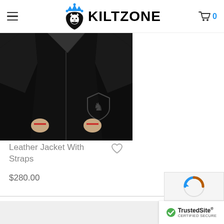KILTZONE — navigation header with hamburger menu and cart (0 items)
[Figure (photo): Product photo: person wearing a black leather jacket with straps, shown from torso down, hands at sides. A grey shield/crest watermark is visible on the lower right of the image.]
Leather Jacket With Straps
$280.00
Load More
TrustedSite CERTIFIED SECURE